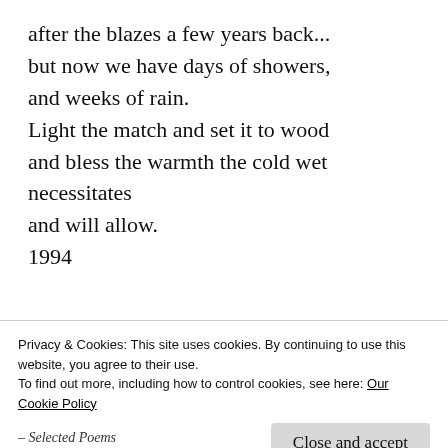after the blazes a few years back...
but now we have days of showers,
and weeks of rain.
Light the match and set it to wood
and bless the warmth the cold wet
necessitates
and will allow.
1994
[Figure (photo): Book cover of 'Depth Perception' with dark background and golden text]
From Depth Perception – Selected Poems
Privacy & Cookies: This site uses cookies. By continuing to use this website, you agree to their use.
To find out more, including how to control cookies, see here: Our Cookie Policy
Close and accept
– Selected Poems